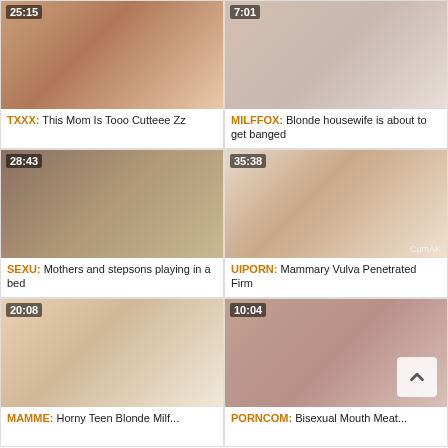[Figure (screenshot): Video thumbnail 1 with duration 25:15]
TXXX: This Mom Is Tooo Cutteee Zz
[Figure (screenshot): Video thumbnail 2 with duration 7:01]
MILFFOX: Blonde housewife is about to get banged
[Figure (screenshot): Video thumbnail 3 with duration 28:43]
SEXU: Mothers and stepsons playing in a bed
[Figure (screenshot): Video thumbnail 4 with duration 35:38]
UIPORN: Mammary Vulva Penetrated Firm
[Figure (screenshot): Video thumbnail 5 with duration 20:08]
MAMME: ...
[Figure (screenshot): Video thumbnail 6 with duration 10:04]
PORNCOM: Bisexual Mouth...